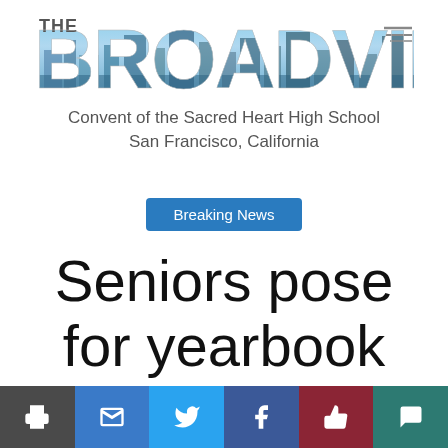[Figure (logo): The Broadview newspaper logo with cityscape photo embedded in large bold text]
Convent of the Sacred Heart High School
San Francisco, California
Breaking News
Seniors pose for yearbook portraits